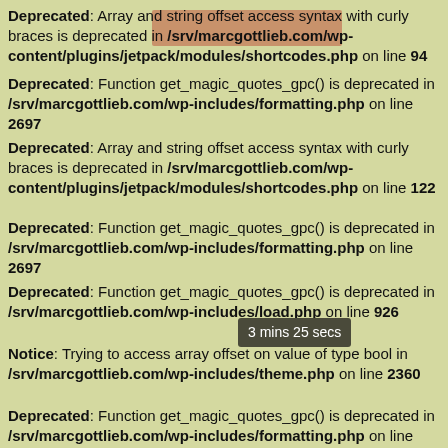Deprecated: Array and string offset access syntax with curly braces is deprecated in /srv/marcgottlieb.com/wp-content/plugins/jetpack/modules/shortcodes.php on line 94
Deprecated: Function get_magic_quotes_gpc() is deprecated in /srv/marcgottlieb.com/wp-includes/formatting.php on line 2697
Deprecated: Array and string offset access syntax with curly braces is deprecated in /srv/marcgottlieb.com/wp-content/plugins/jetpack/modules/shortcodes.php on line 122
Deprecated: Function get_magic_quotes_gpc() is deprecated in /srv/marcgottlieb.com/wp-includes/formatting.php on line 2697
Deprecated: Function get_magic_quotes_gpc() is deprecated in /srv/marcgottlieb.com/wp-includes/load.php on line 926
Notice: Trying to access array offset on value of type bool in /srv/marcgottlieb.com/wp-includes/theme.php on line 2360
Deprecated: Function get_magic_quotes_gpc() is deprecated in /srv/marcgottlieb.com/wp-includes/formatting.php on line 4803